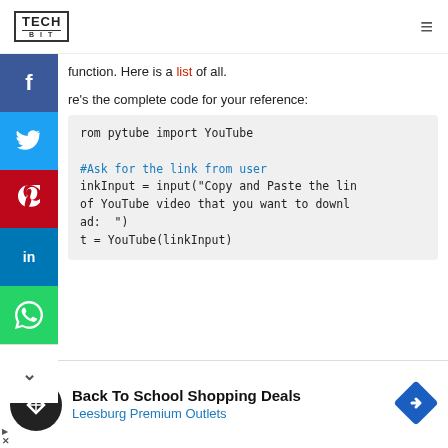TECH BIT
function. Here is a list of all.
Here's the complete code for your reference:
from pytube import YouTube

#Ask for the link from user
linkInput = input("Copy and Paste the link of YouTube video that you want to download: ")
yt = YouTube(linkInput)
[Figure (screenshot): Advertisement banner: Back To School Shopping Deals - Leesburg Premium Outlets with logo and directional sign icon]